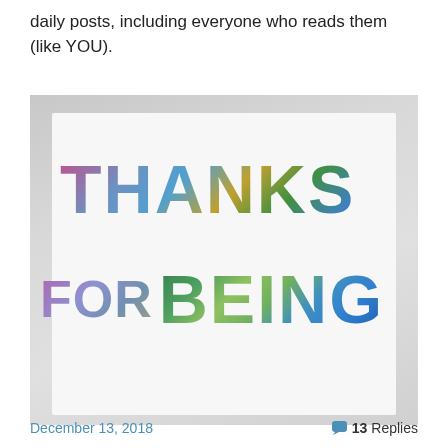daily posts, including everyone who reads them (like YOU).
[Figure (photo): A greeting card with nature-photo-filled letters reading 'THANKS FOR BEING', displayed among other stacked cards. Each letter is filled with colorful nature photographs including skies, forests, flowers and landscapes.]
December 13, 2018
13 Replies